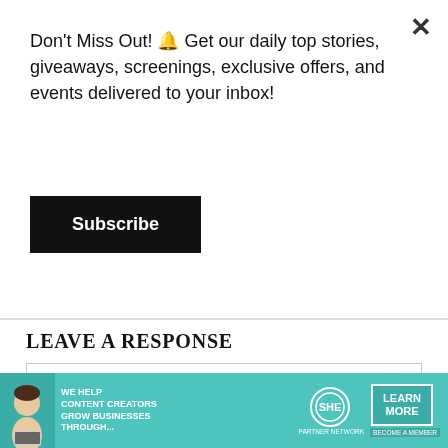Don't Miss Out! 🔔 Get our daily top stories, giveaways, screenings, exclusive offers, and events delivered to your inbox!
Subscribe
LEAVE A RESPONSE
Write your commen
[Figure (infographic): SHE Media Partner Network advertisement banner with a woman using a laptop, text reading 'WE HELP CONTENT CREATORS GROW BUSINESSES THROUGH...' and a 'LEARN MORE' button.]